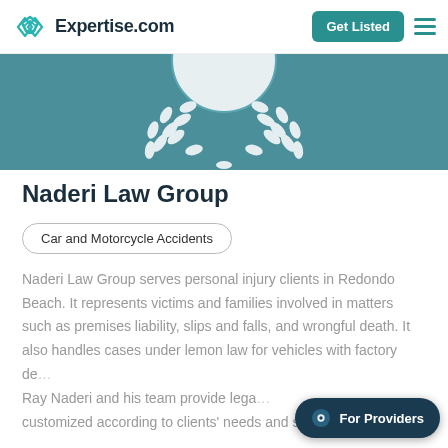Expertise.com | Get Listed
[Figure (illustration): Teal banner background with a laurel wreath award badge illustration in white/light teal — partial view showing the bottom half of a circular badge with wheat/laurel branches on either side]
Naderi Law Group
Car and Motorcycle Accidents
Naderi Law Group serves personal injury clients in Redondo Beach. It represents victims and families involved in matters such as premises liability, slips and falls, and wrongful death. It also handles cases under lemon law for vehicles with factory de... Ray Naderi and his team provide lega... customized according to clients' needs and seek...